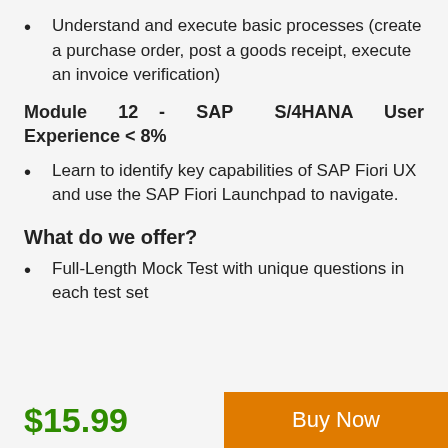Understand and execute basic processes (create a purchase order, post a goods receipt, execute an invoice verification)
Module 12 - SAP S/4HANA User Experience < 8%
Learn to identify key capabilities of SAP Fiori UX and use the SAP Fiori Launchpad to navigate.
What do we offer?
Full-Length Mock Test with unique questions in each test set
$15.99
Buy Now